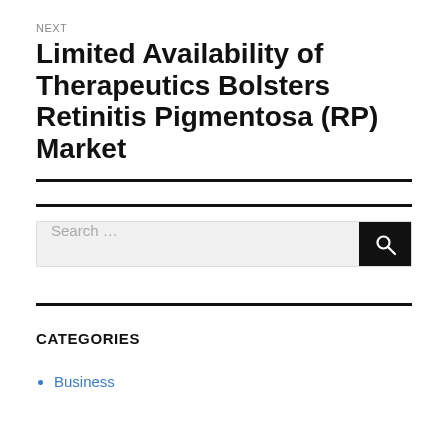NEXT
Limited Availability of Therapeutics Bolsters Retinitis Pigmentosa (RP) Market
Search …
CATEGORIES
Business